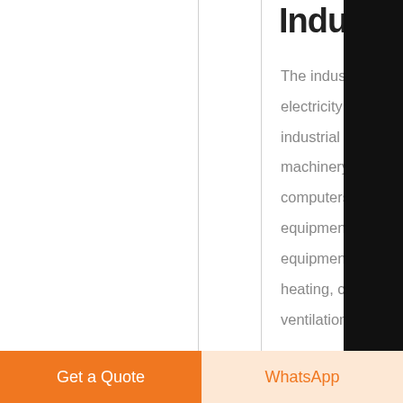Industry
The industrial sector uses electricity for operating industrial motors and machinery, lights, computers and office equipment, and equipment for facility heating, cooling, and ventilation
[Figure (infographic): Right sidebar with chat icon, email icon, top arrow icon, and close icon on black background]
Get a Quote
WhatsApp